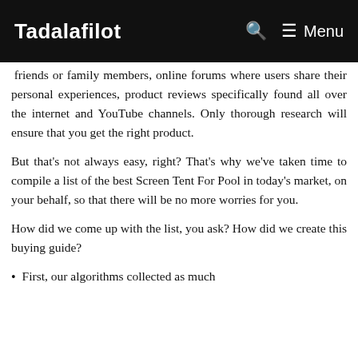Tadalafilot   Menu
friends or family members, online forums where users share their personal experiences, product reviews specifically found all over the internet and YouTube channels. Only thorough research will ensure that you get the right product.
But that's not always easy, right? That's why we've taken time to compile a list of the best Screen Tent For Pool in today's market, on your behalf, so that there will be no more worries for you.
How did we come up with the list, you ask? How did we create this buying guide?
First, our algorithms collected as much